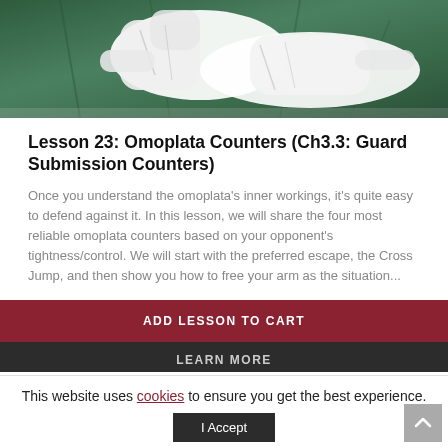[Figure (photo): Two martial artists in white gi uniforms practicing judo/jiu-jitsu on a green mat, photographed from above]
Lesson 23: Omoplata Counters (Ch3.3: Guard Submission Counters)
Once you understand the omoplata's inner workings, it's quite easy to defend against it. In this lesson, we will share the four most reliable omoplata counters based on your opponent's tightness/control. We will start with the preferred escape, the Cross Jump, and then show you how to free your arm as the situation...
ADD LESSON TO CART
LEARN MORE
This website uses cookies to ensure you get the best experience.
I Accept